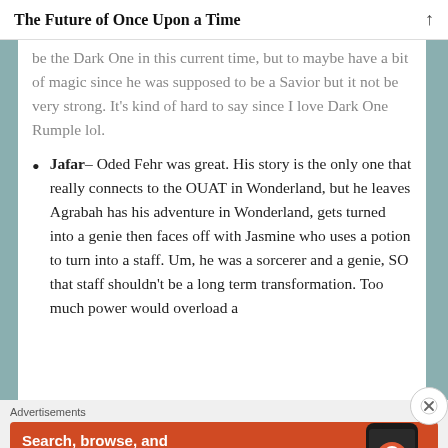The Future of Once Upon a Time
be the Dark One in this current time, but to maybe have a bit of magic since he was supposed to be a Savior but it not be very strong. It's kind of hard to say since I love Dark One Rumple lol.
Jafar– Oded Fehr was great. His story is the only one that really connects to the OUAT in Wonderland, but he leaves Agrabah has his adventure in Wonderland, gets turned into a genie then faces off with Jasmine who uses a potion to turn into a staff. Um, he was a sorcerer and a genie, SO that staff shouldn't be a long term transformation. Too much power would overload a
[Figure (infographic): DuckDuckGo advertisement banner: orange background with text 'Search, browse, and email with more privacy. All in One Free App' and a phone mockup with DuckDuckGo logo]